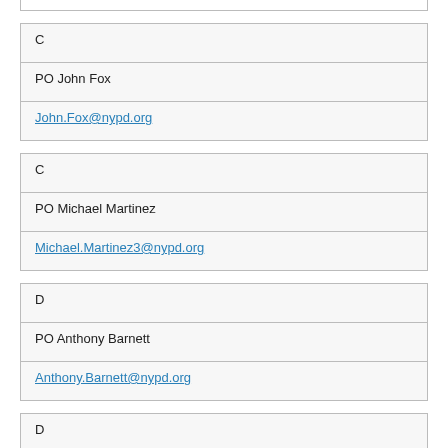| C |
| PO John Fox |
| John.Fox@nypd.org |
| C |
| PO Michael Martinez |
| Michael.Martinez3@nypd.org |
| D |
| PO Anthony Barnett |
| Anthony.Barnett@nypd.org |
| D |
| PO James Vogel |
| James.Vogel@nypd.org |
| Resorts World Casino |
| PO Kieran Casey |